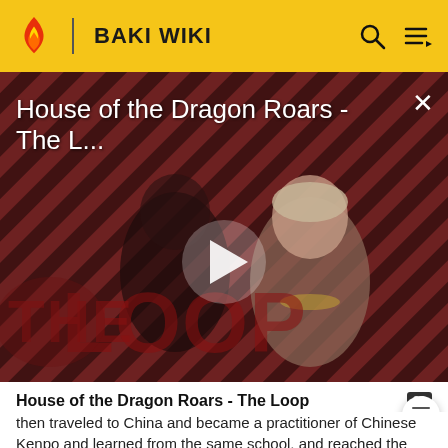BAKI WIKI
[Figure (screenshot): Video player thumbnail showing 'House of the Dragon Roars - The L...' with a play button in the center, diagonal striped red/dark background, and 'THE LOOP' watermark. Two characters visible.]
House of the Dragon Roars - The Loop
then traveled to China and became a practitioner of Chinese Kenpo and learned from the same school, and reached the same rank of Kaiou as Retsu, the first Western man in history to attain that title. Retsu is